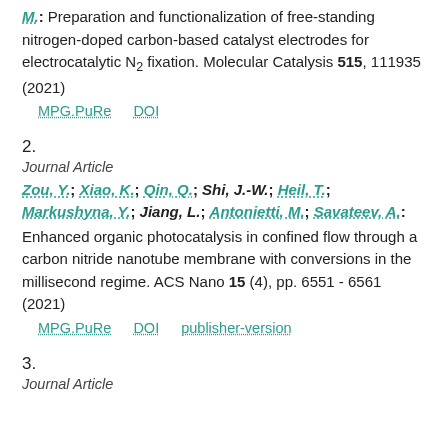M.: Preparation and functionalization of free-standing nitrogen-doped carbon-based catalyst electrodes for electrocatalytic N2 fixation. Molecular Catalysis 515, 111935 (2021)
MPG.PuRe   DOI
2.
Journal Article
Zou, Y.; Xiao, K.; Qin, Q.; Shi, J.-W.; Heil, T.; Markushyna, Y.; Jiang, L.; Antonietti, M.; Savateev, A.: Enhanced organic photocatalysis in confined flow through a carbon nitride nanotube membrane with conversions in the millisecond regime. ACS Nano 15 (4), pp. 6551 - 6561 (2021)
MPG.PuRe   DOI   publisher-version
3.
Journal Article